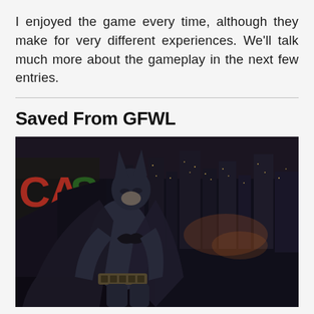I enjoyed the game every time, although they make for very different experiences. We'll talk much more about the gameplay in the next few entries.
Saved From GFWL
[Figure (photo): Screenshot from Batman: Arkham City showing Batman standing in foreground in his suit with a dark, moody cityscape behind him at night. A neon casino sign partially visible on the left.]